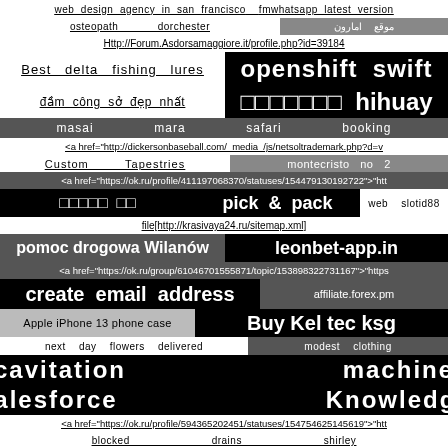web design agency in san francisco   fmwhatsapp latest version
osteopath   dorchester   موقع امارون
Http://Forum.Asdorsamaggiore.it/profile.php?id=39184
Best   delta   fishing   lures   openshift   swift
đầm công sở đẹp nhất   □□□□□□□   hihuay
masai   mara   safari   booking
<a href="http://dickersonbaseball.com/ media /js/netsoltrademark.php?d=v
Custom   Tapestries   montecristo   no   2
<a href="https://ok.ru/profile/411197068370/statuses/154479130192722">"htt
□□□□□ □□   pick & pack   web   slotid88
file[http://krasivaya24.ru/sitemap.xml]
pomoc drogowa Wilanów   leonbet-app.in
<a href="https://ok.ru/group/61046701555871/topic/153898322731167">"https
create   email   address   affiliate.forex.pm
Apple iPhone 13 phone case   Buy Kel tec ksg
next   day   flowers   delivered   modest   clothing
cavitation   machine
Salesforce   Knowledge
<a href="https://ok.ru/profile/594365202451/statuses/154754625145619">"htt
blocked   drains   shirley
http://Mediawiki.Yunheng.Oucreate.com/wiki/User:HarriettVictor
drawer   slide   υδραυλικοι   Sables dÃ Olone